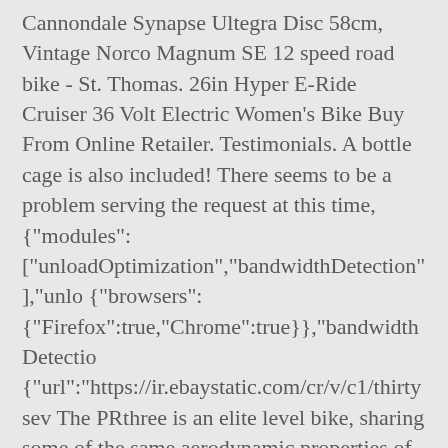Cannondale Synapse Ultegra Disc 58cm, Vintage Norco Magnum SE 12 speed road bike - St. Thomas. 26in Hyper E-Ride Cruiser 36 Volt Electric Women's Bike Buy From Online Retailer. Testimonials. A bottle cage is also included! There seems to be a problem serving the request at this time, {"modules": ["unloadOptimization","bandwidthDetection"],"unlo {"browsers": {"Firefox":true,"Chrome":true}},"bandwidthDetectio {"url":"https://ir.ebaystatic.com/cr/v/c1/thirtysev The PRthree is an elite level bike, sharing some of the same aerodynamic properties of our other PRseries bikes, like SHIFT+ technology, with a slightly different carbon layup & budge. 7 speed twist shifters . 20in Hyper Radster 36V